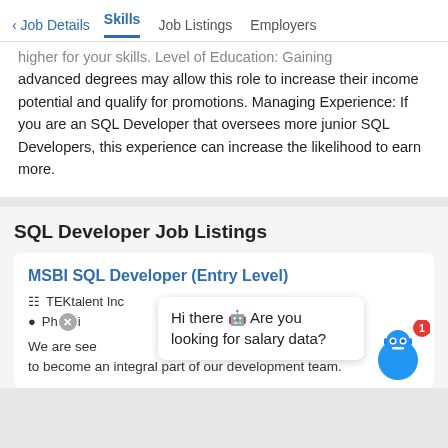Job Details | Skills | Job Listings | Employers
higher for your skills. Level of Education: Gaining advanced degrees may allow this role to increase their income potential and qualify for promotions. Managing Experience: If you are an SQL Developer that oversees more junior SQL Developers, this experience can increase the likelihood to earn more.
SQL Developer Job Listings
MSBI SQL Developer (Entry Level)
TEKtalent Inc
Phoenix
We are see... to become an integral part of our development team.
Hi there 🤖 Are you looking for salary data?